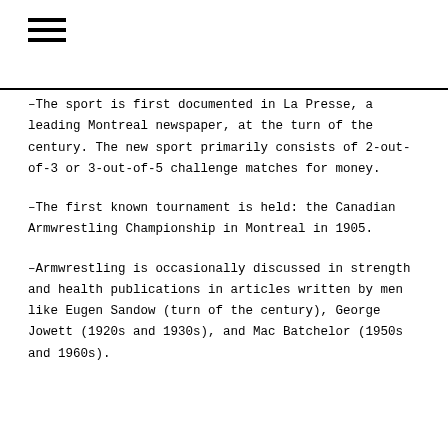[Figure (other): Hamburger menu icon with three horizontal lines]
–The sport is first documented in La Presse, a leading Montreal newspaper, at the turn of the century. The new sport primarily consists of 2-out-of-3 or 3-out-of-5 challenge matches for money.
–The first known tournament is held: the Canadian Armwrestling Championship in Montreal in 1905.
–Armwrestling is occasionally discussed in strength and health publications in articles written by men like Eugen Sandow (turn of the century), George Jowett (1920s and 1930s), and Mac Batchelor (1950s and 1960s).